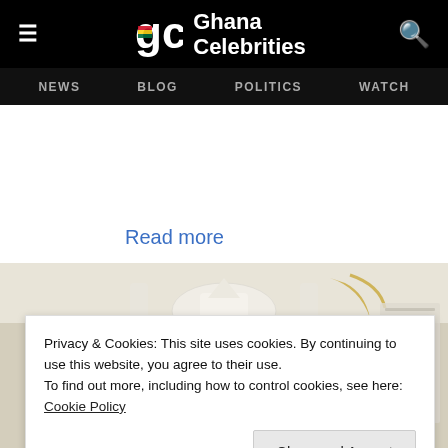Ghana Celebrities — NEWS  BLOG  POLITICS  WATCH
Read more
[Figure (photo): Decorative temple/celebration scene with ornate white carvings and golden accents, partially obscured by cookie consent overlay]
Privacy & Cookies: This site uses cookies. By continuing to use this website, you agree to their use.
To find out more, including how to control cookies, see here:
Cookie Policy
Close and Accept